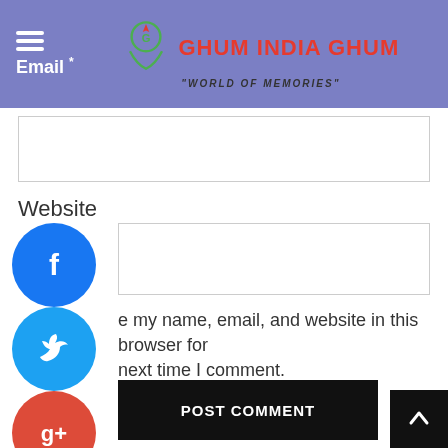Email * — GHUM INDIA GHUM "World of Memories"
Website
e my name, email, and website in this browser for next time I comment.
POST COMMENT
[Figure (logo): Social media share sidebar with Facebook, Twitter, Google+, Pinterest, LinkedIn icons]
[Figure (logo): Back to top button arrow]